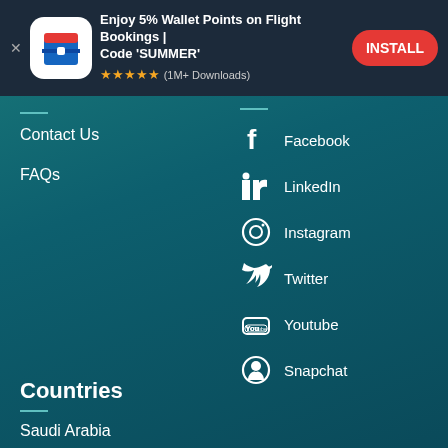[Figure (screenshot): App install advertisement banner: icon of a travel app, text 'Enjoy 5% Wallet Points on Flight Bookings | Code SUMMER', 5 stars, (1M+ Downloads), INSTALL button]
Contact Us
FAQs
Facebook
LinkedIn
Instagram
Twitter
Youtube
Snapchat
Countries
Saudi Arabia